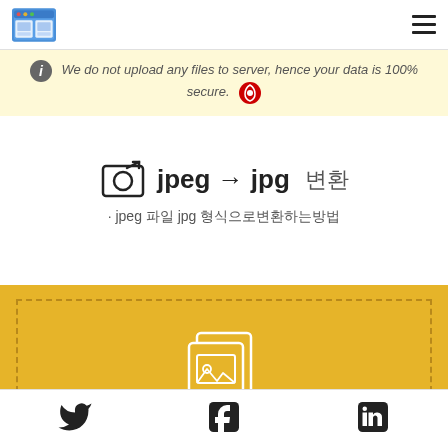App logo and hamburger menu
We do not upload any files to server, hence your data is 100% secure.
jpeg → jpg 변환 · jpeg 파일 jpg 형식으로변환하는방법
[Figure (illustration): Golden/yellow upload area with dashed border and white document/image upload icon in the center]
Social share icons: Twitter, Facebook, LinkedIn